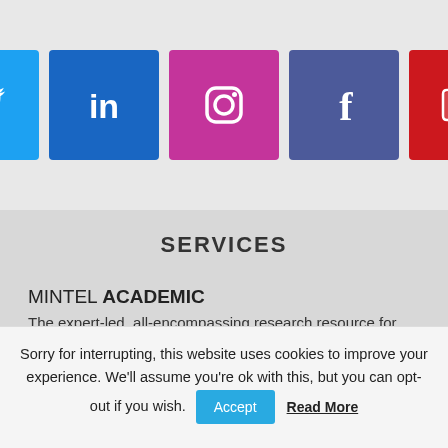[Figure (infographic): Five social media icon buttons in a row: Twitter (blue bird), LinkedIn (blue 'in'), Instagram (pink camera), Facebook (purple 'f'), YouTube (red play button)]
SERVICES
MINTEL ACADEMIC
The expert-led, all-encompassing research resource for higher learning.
MINTEL BEAUTY & PERSONAL CARE
The expert-led global market intelligence solution for the beauty and
Sorry for interrupting, this website uses cookies to improve your experience. We'll assume you're ok with this, but you can opt-out if you wish. Accept Read More